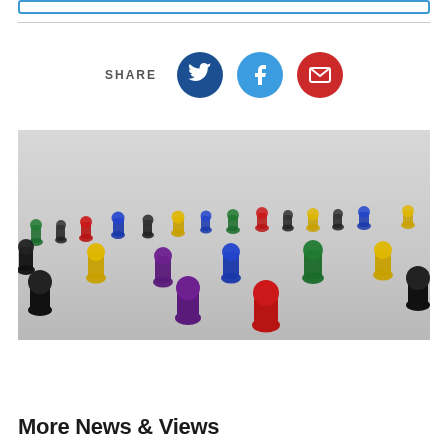[Figure (screenshot): Search bar / input field with blue border at top of page]
[Figure (infographic): Social share buttons: SHARE label followed by Twitter (dark blue circle with bird icon), Facebook (light blue circle with f icon), and Email (red circle with envelope icon)]
[Figure (photo): Photograph of many colorful board game pawn pieces (red, yellow, green, blue, black, purple) arranged on a light grey surface, photographed from a low angle]
More News & Views